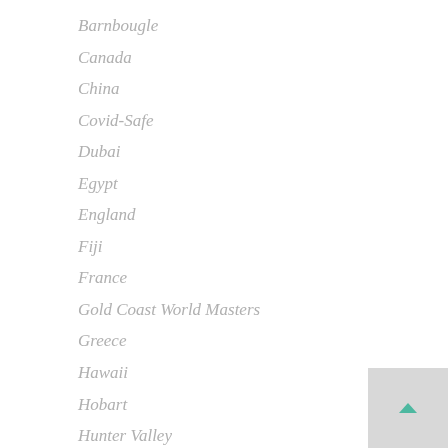Barnbougle
Canada
China
Covid-Safe
Dubai
Egypt
England
Fiji
France
Gold Coast World Masters
Greece
Hawaii
Hobart
Hunter Valley
India